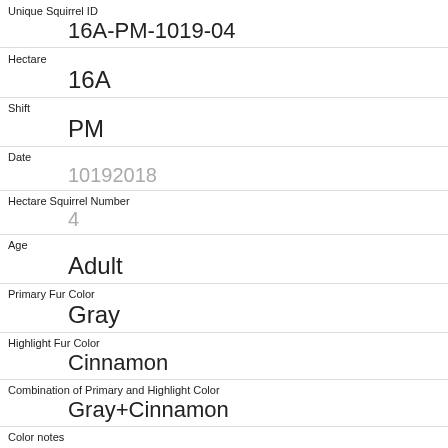| Unique Squirrel ID | 16A-PM-1019-04 |
| Hectare | 16A |
| Shift | PM |
| Date | 10192018 |
| Hectare Squirrel Number | 4 |
| Age | Adult |
| Primary Fur Color | Gray |
| Highlight Fur Color | Cinnamon |
| Combination of Primary and Highlight Color | Gray+Cinnamon |
| Color notes |  |